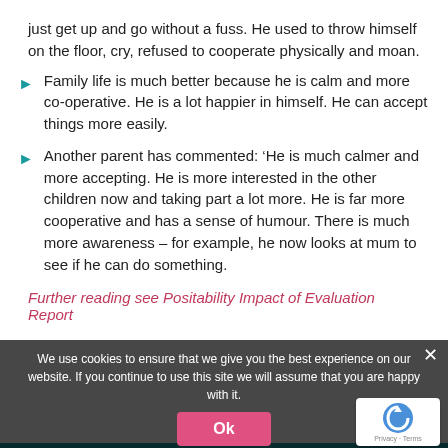just get up and go without a fuss. He used to throw himself on the floor, cry, refused to cooperate physically and moan.
Family life is much better because he is calm and more co-operative. He is a lot happier in himself. He can accept things more easily.
Another parent has commented: ‘He is much calmer and more accepting. He is more interested in the other children now and taking part a lot more. He is far more cooperative and has a sense of humour. There is much more awareness – for example, he now looks at mum to see if he can do something.
Further reading see Positability Impact of Evaluation Report
We use cookies to ensure that we give you the best experience on our website. If you continue to use this site we will assume that you are happy with it.